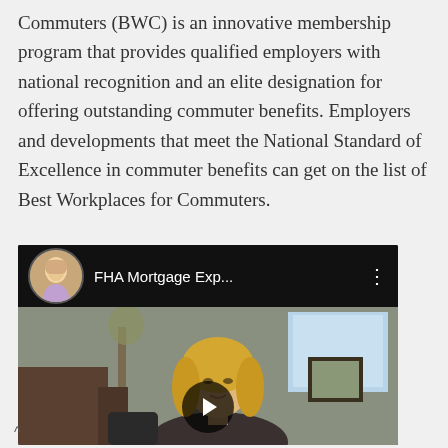Commuters (BWC) is an innovative membership program that provides qualified employers with national recognition and an elite designation for offering outstanding commuter benefits. Employers and developments that meet the National Standard of Excellence in commuter benefits can get on the list of Best Workplaces for Commuters.
[Figure (screenshot): Embedded video thumbnail showing a YouTube-style video player with a blonde woman in a professional office setting. The video title bar shows 'FHA Mortgage Exp...' with a circular avatar of a blonde woman, a three-dot menu icon, and a play button overlaid on the video.]
^